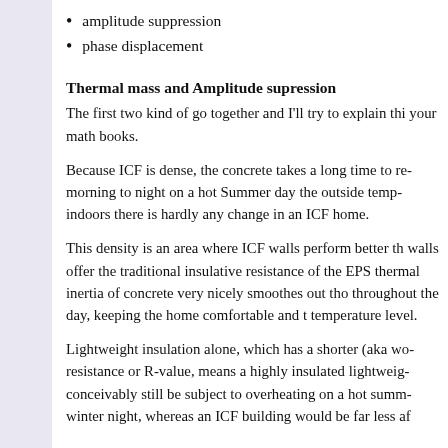amplitude suppression
phase displacement
Thermal mass and Amplitude supression
The first two kind of go together and I'll try to explain this your math books.
Because ICF is dense, the concrete takes a long time to re morning to night on a hot Summer day the outside temp indoors there is hardly any change in an ICF home.
This density is an area where ICF walls perform better th walls offer the traditional insulative resistance of the EPS thermal inertia of concrete very nicely smoothes out tho throughout the day, keeping the home comfortable and t temperature level.
Lightweight insulation alone, which has a shorter (aka wo resistance or R-value, means a highly insulated lightweig conceivably still be subject to overheating on a hot summ winter night, whereas an ICF building would be far less af